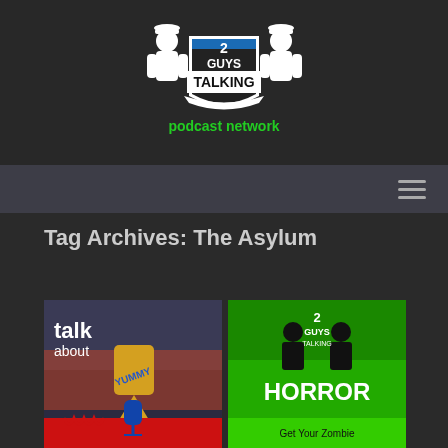[Figure (logo): 2 Guys Talking Podcast Network logo — two silhouetted figures in bowler hats flanking a shield with '2 GUYS TALKING' text, 'podcast network' in green below]
[Figure (other): Navigation bar with hamburger menu icon on the right]
Tag Archives: The Asylum
[Figure (photo): Left thumbnail: 'talk about' text overlay on photo of hands holding a dreidel labelled YUMMY, with a podcast-style graphic at bottom]
[Figure (photo): Right thumbnail: '2 Guys Talking HORROR' green background with silhouettes, subtitle 'Get Your Zombie']